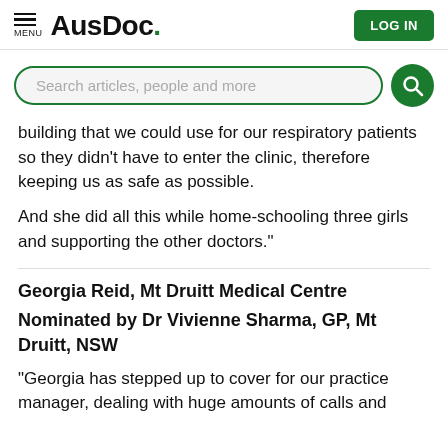AusDoc. | LOG IN
Search articles, people and more
building that we could use for our respiratory patients so they didn't have to enter the clinic, therefore keeping us as safe as possible.

And she did all this while home-schooling three girls and supporting the other doctors."
Georgia Reid, Mt Druitt Medical Centre
Nominated by Dr Vivienne Sharma, GP, Mt Druitt, NSW
"Georgia has stepped up to cover for our practice manager, dealing with huge amounts of calls and